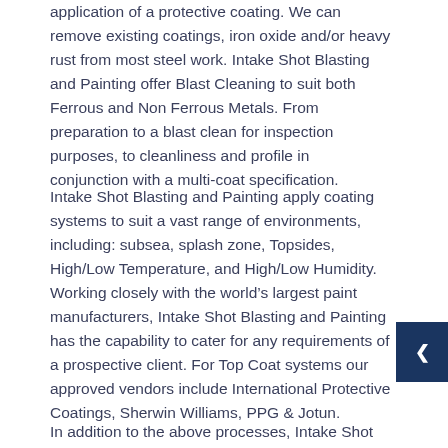application of a protective coating. We can remove existing coatings, iron oxide and/or heavy rust from most steel work. Intake Shot Blasting and Painting offer Blast Cleaning to suit both Ferrous and Non Ferrous Metals. From preparation to a blast clean for inspection purposes, to cleanliness and profile in conjunction with a multi-coat specification.
Intake Shot Blasting and Painting apply coating systems to suit a vast range of environments, including: subsea, splash zone, Topsides, High/Low Temperature, and High/Low Humidity. Working closely with the world's largest paint manufacturers, Intake Shot Blasting and Painting has the capability to cater for any requirements of a prospective client. For Top Coat systems our approved vendors include International Protective Coatings, Sherwin Williams, PPG & Jotun.
In addition to the above processes, Intake Shot